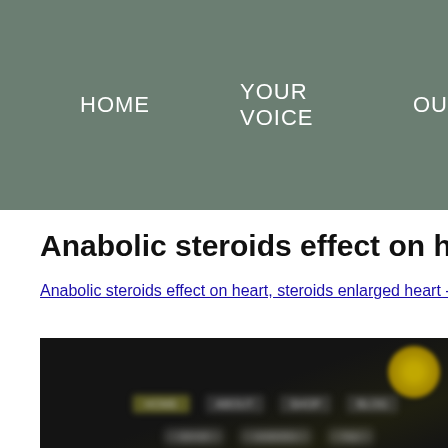HOME   YOUR VOICE   OU...
Anabolic steroids effect on heart, steroid...
Anabolic steroids effect on heart, steroids enlarged heart - Buy steroid...
[Figure (screenshot): Blurred screenshot of a dark-themed website with navigation elements and a logo visible in the top right corner]